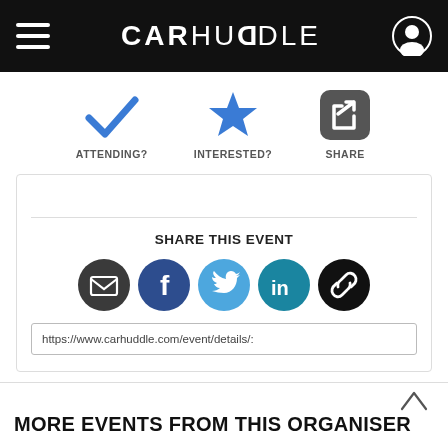CARHUDDLE
[Figure (infographic): Three action buttons: ATTENDING? (blue checkmark), INTERESTED? (blue star), SHARE (dark rounded square with share arrow icon)]
SHARE THIS EVENT
[Figure (infographic): Five social sharing circular icon buttons: email (dark grey), Facebook (dark blue), Twitter (light blue), LinkedIn (teal/blue), chain link (black)]
https://www.carhuddle.com/event/details/:
MORE EVENTS FROM THIS ORGANISER